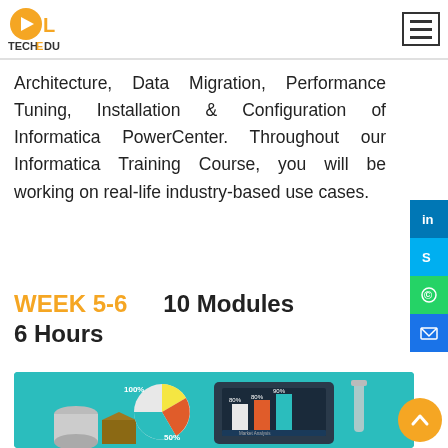OL TECHEDU
Architecture, Data Migration, Performance Tuning, Installation & Configuration of Informatica PowerCenter. Throughout our Informatica Training Course, you will be working on real-life industry-based use cases.
WEEK 5-6    10 Modules
6 Hours
[Figure (illustration): Marketing analytics infographic illustration showing a tablet displaying bar charts labeled Market Analysis with percentages 80%, 90%, 80%, a pie chart with 50% and 100% labels, a cylinder, a box, and data visualization elements on a teal background.]